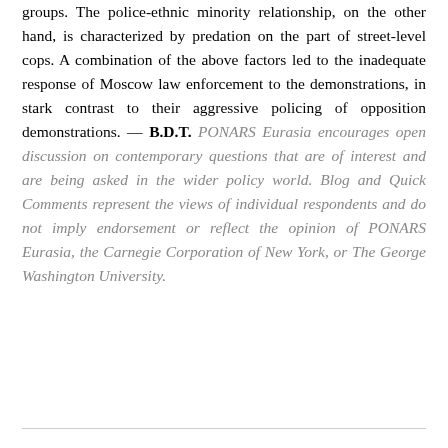groups. The police-ethnic minority relationship, on the other hand, is characterized by predation on the part of street-level cops. A combination of the above factors led to the inadequate response of Moscow law enforcement to the demonstrations, in stark contrast to their aggressive policing of opposition demonstrations. — B.D.T. PONARS Eurasia encourages open discussion on contemporary questions that are of interest and are being asked in the wider policy world. Blog and Quick Comments represent the views of individual respondents and do not imply endorsement or reflect the opinion of PONARS Eurasia, the Carnegie Corporation of New York, or The George Washington University.